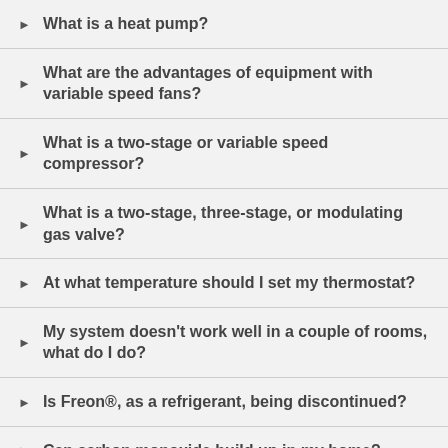What is a heat pump?
What are the advantages of equipment with variable speed fans?
What is a two-stage or variable speed compressor?
What is a two-stage, three-stage, or modulating gas valve?
At what temperature should I set my thermostat?
My system doesn't work well in a couple of rooms, what do I do?
Is Freon®, as a refrigerant, being discontinued?
Can carbon monoxide build up in my home?